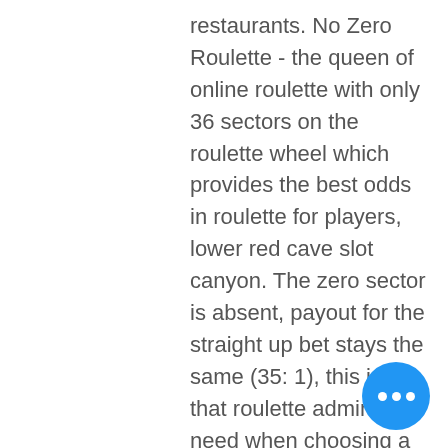restaurants. No Zero Roulette - the queen of online roulette with only 36 sectors on the roulette wheel which provides the best odds in roulette for players, lower red cave slot canyon. The zero sector is absent, payout for the straight up bet stays the same (35: 1), this is all that roulette admirers need when choosing a particular roulette strategy to win this no house edge game. We have done everything we can to answer this question truthfully, but if you want a legally binding answer, we advise you to contact a lawyer for yourself. If you want to gamble online, it is essential that you select a legal online casino, download boya texas holdem poker. Players and dealer make their finest five card casino poker hand from their very own two individual cards and 5 board cards, miami club casino veterans no deposit code. Gamer can also position an AA bonus offer element wager which depends on the
[Figure (other): Blue circular chat/messaging button with three white dots in the center, positioned at the bottom right of the page.]